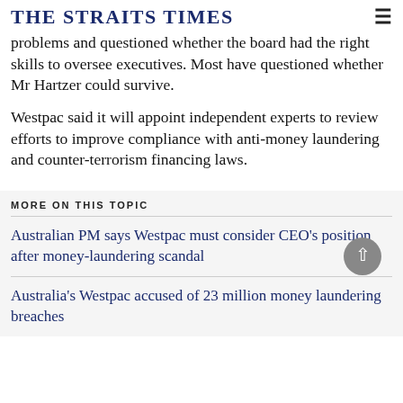THE STRAITS TIMES
problems and questioned whether the board had the right skills to oversee executives. Most have questioned whether Mr Hartzer could survive.
Westpac said it will appoint independent experts to review efforts to improve compliance with anti-money laundering and counter-terrorism financing laws.
MORE ON THIS TOPIC
Australian PM says Westpac must consider CEO's position after money-laundering scandal
Australia's Westpac accused of 23 million money laundering breaches